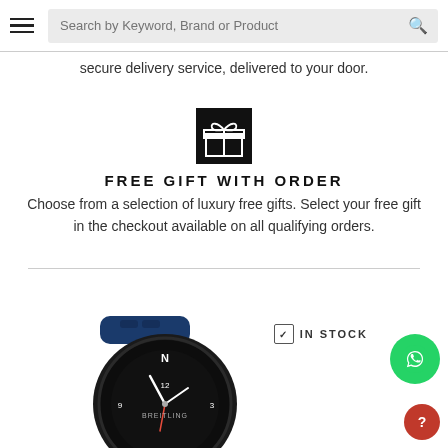Search by Keyword, Brand or Product
secure delivery service, delivered to your door.
[Figure (illustration): Gift box icon — white gift box with ribbon on black square background]
FREE GIFT WITH ORDER
Choose from a selection of luxury free gifts. Select your free gift in the checkout available on all qualifying orders.
YOU MAY ALSO LIKE
[Figure (photo): Breitling watch with dark case and blue rubber strap, shown from front]
IN STOCK